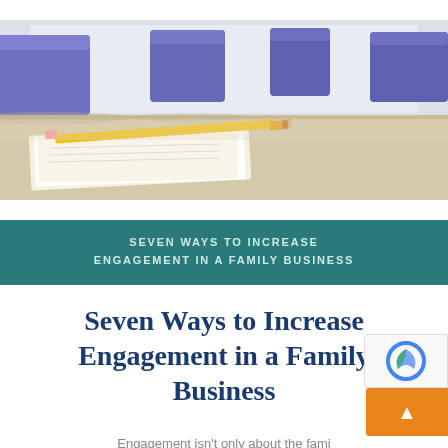[Figure (photo): Photo of a conference/meeting room table with purple/blue chairs, and on the table are stacked notebooks and a yellow pencil, blurred background]
SEVEN WAYS TO INCREASE ENGAGEMENT IN A FAMILY BUSINESS
Seven Ways to Increase Engagement in a Family Business
Engagement isn't only about the fami interacting with the business, or the leadership